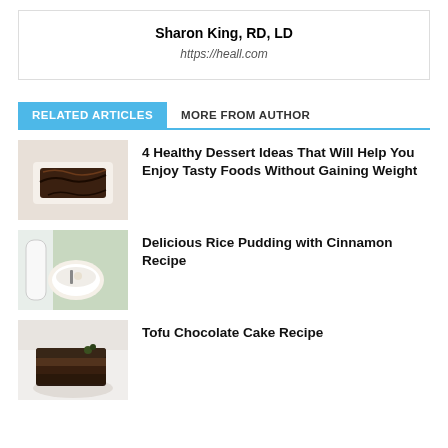Sharon King, RD, LD
https://heall.com
RELATED ARTICLES
MORE FROM AUTHOR
[Figure (photo): Chocolate brownie dessert with drizzle on white plate]
4 Healthy Dessert Ideas That Will Help You Enjoy Tasty Foods Without Gaining Weight
[Figure (photo): Rice pudding in white bowl with cinnamon and milk bottle]
Delicious Rice Pudding with Cinnamon Recipe
[Figure (photo): Slice of chocolate cake on white plate]
Tofu Chocolate Cake Recipe